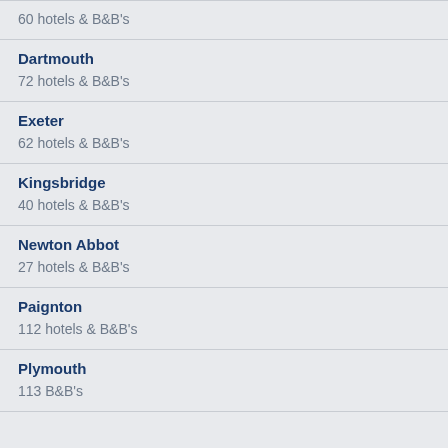60 hotels & B&B's
Dartmouth
72 hotels & B&B's
Exeter
62 hotels & B&B's
Kingsbridge
40 hotels & B&B's
Newton Abbot
27 hotels & B&B's
Paignton
112 hotels & B&B's
Plymouth
113 B&B's